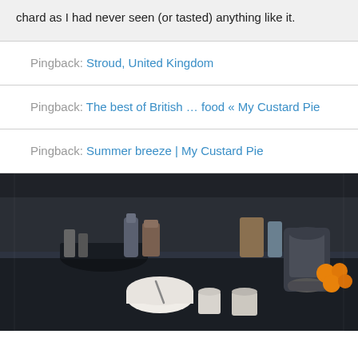chard as I had never seen (or tasted) anything like it.
Pingback: Stroud, United Kingdom
Pingback: The best of British … food « My Custard Pie
Pingback: Summer breeze | My Custard Pie
[Figure (photo): Kitchen counter scene with dark cabinetry, mixing bowls, cups, a stand mixer, and oranges in the background]